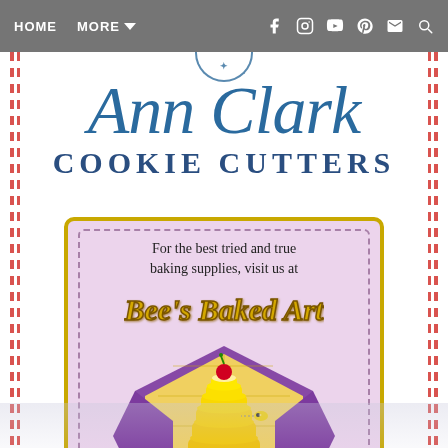HOME   MORE ▾   [social icons]
[Figure (logo): Ann Clark Cookie Cutters logo with circular emblem at top, cursive 'Ann Clark' text in blue, and 'COOKIE CUTTERS' in bold blue capital letters]
[Figure (illustration): Bee's Baked Art advertisement banner with yellow border on purple background, dashed inner border, text 'For the best tried and true baking supplies, visit us at', Bee's Baked Art logo in gold script, and beehive illustration with cartoon bee and cherry on top inside a purple hexagonal frame]